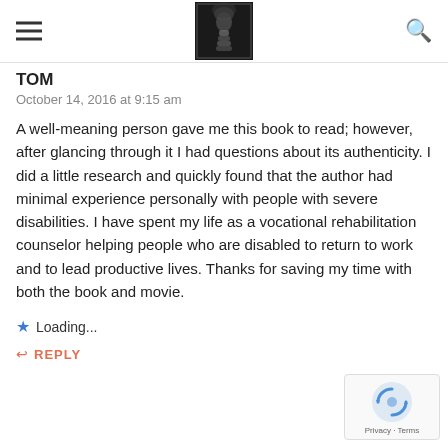TOM
October 14, 2016 at 9:15 am
A well-meaning person gave me this book to read; however, after glancing through it I had questions about its authenticity. I did a little research and quickly found that the author had minimal experience personally with people with severe disabilities. I have spent my life as a vocational rehabilitation counselor helping people who are disabled to return to work and to lead productive lives. Thanks for saving my time with both the book and movie.
Loading...
REPLY